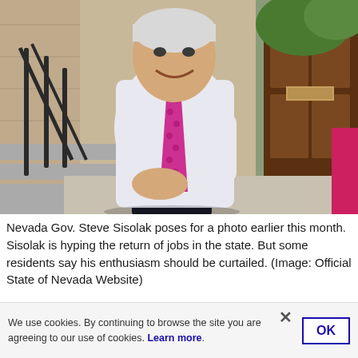[Figure (photo): Nevada Governor Steve Sisolak seated on steps outside a building, wearing a white dress shirt and pink/magenta checkered tie, smiling at the camera. Stone building exterior with black iron railing visible on the left, and a wooden door on the right.]
Nevada Gov. Steve Sisolak poses for a photo earlier this month. Sisolak is hyping the return of jobs in the state. But some residents say his enthusiasm should be curtailed. (Image: Official State of Nevada Website)
We use cookies. By continuing to browse the site you are agreeing to our use of cookies. Learn more.